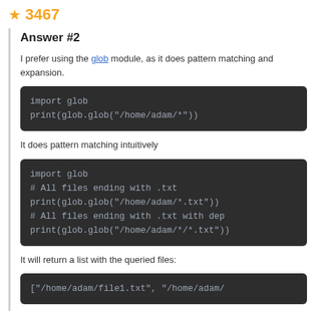★ 3467
Answer #2
I prefer using the glob module, as it does pattern matching and expansion.
import glob
print(glob.glob("/home/adam/*"))
It does pattern matching intuitively
import glob
# All files ending with .txt
print(glob.glob("/home/adam/*.txt"))
# All files ending with .txt with dep
print(glob.glob("/home/adam/*/*.txt"))
It will return a list with the queried files:
["/home/adam/file1.txt", "/home/adam/